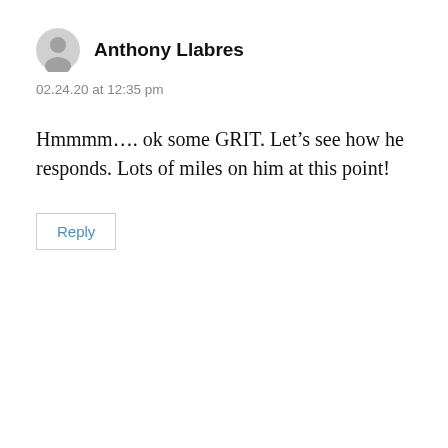Anthony Llabres
02.24.20 at 12:35 pm
Hmmmm…. ok some GRIT. Let’s see how he responds. Lots of miles on him at this point!
Reply